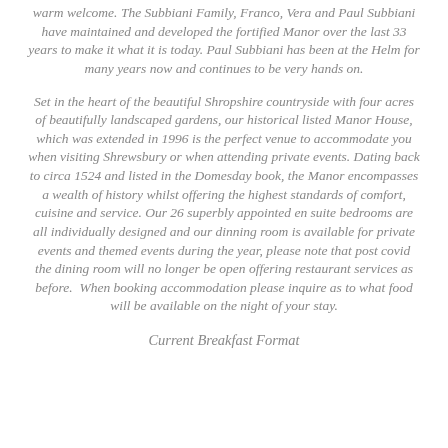warm welcome. The Subbiani Family, Franco, Vera and Paul Subbiani have maintained and developed the fortified Manor over the last 33 years to make it what it is today. Paul Subbiani has been at the Helm for many years now and continues to be very hands on.
Set in the heart of the beautiful Shropshire countryside with four acres of beautifully landscaped gardens, our historical listed Manor House, which was extended in 1996 is the perfect venue to accommodate you when visiting Shrewsbury or when attending private events. Dating back to circa 1524 and listed in the Domesday book, the Manor encompasses a wealth of history whilst offering the highest standards of comfort, cuisine and service. Our 26 superbly appointed en suite bedrooms are all individually designed and our dinning room is available for private events and themed events during the year, please note that post covid the dining room will no longer be open offering restaurant services as before. When booking accommodation please inquire as to what food will be available on the night of your stay.
Current Breakfast Format